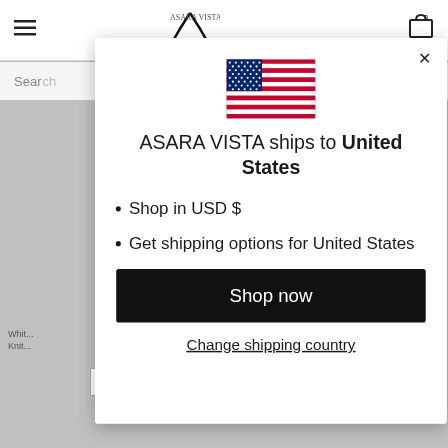[Figure (screenshot): Website background showing navigation bar with hamburger menu, logo, cart icon, search bar, and product listing area in gray]
[Figure (illustration): US flag icon centered in the modal dialog]
ASARA VISTA ships to United States
Shop in USD $
Get shipping options for United States
Shop now
Change shipping country